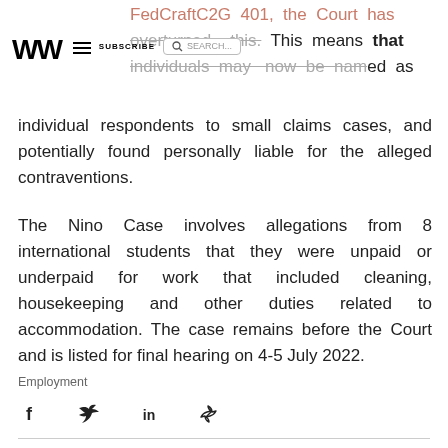WW | SUBSCRIBE | SEARCH
FedCraftC2G 401, the Court has overturned this. This means that individuals may now be named as individual respondents to small claims cases, and potentially found personally liable for the alleged contraventions.
The Nino Case involves allegations from 8 international students that they were unpaid or underpaid for work that included cleaning, housekeeping and other duties related to accommodation. The case remains before the Court and is listed for final hearing on 4-5 July 2022.
Employment